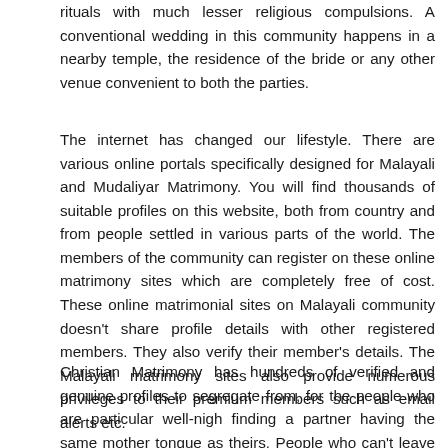rituals with much lesser religious compulsions. A conventional wedding in this community happens in a nearby temple, the residence of the bride or any other venue convenient to both the parties.
The internet has changed our lifestyle. There are various online portals specifically designed for Malayali and Mudaliyar Matrimony. You will find thousands of suitable profiles on this website, both from country and from people settled in various parts of the world. The members of the community can register on these online matrimony sites which are completely free of cost. These online matrimonial sites on Malayali community doesn't share profile details with other registered members. They also verify their member's details. The Malayali matrimony sites also provide numerous privileges to their premium members such as email alerts etc.
Christian Matrimony has hundreds of verified and genuine profiles to segregate from, for the people who are particular well-nigh finding a partner having the same mother tongue as theirs. People who can't leave the traditional Kerala